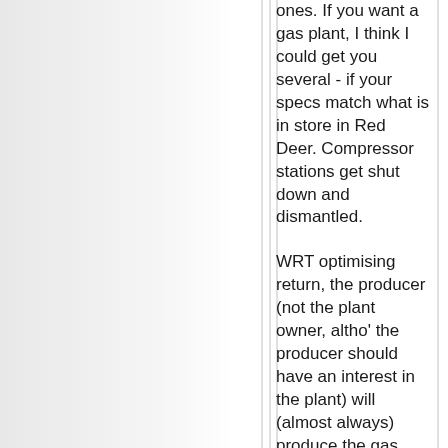ones. If you want a gas plant, I think I could get you several - if your specs match what is in store in Red Deer. Compressor stations get shut down and dismantled.
WRT optimising return, the producer (not the plant owner, altho' the producer should have an interest in the plant) will (almost always) produce the gas using good production practice, i.e. the producer will